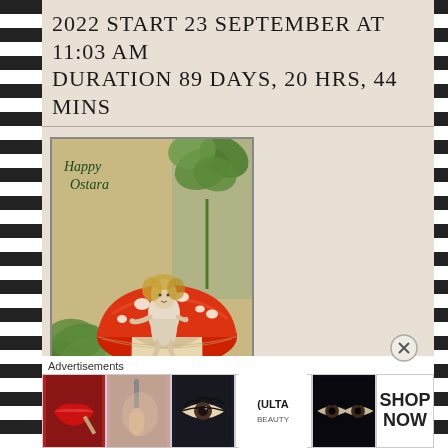2022 START 23 SEPTEMBER AT 11:03 AM DURATION 89 DAYS, 20 HRS, 44 MINS
[Figure (illustration): Vintage illustration of a fairy or goddess figure seated on a large red mushroom with white spots, surrounded by green four-leaf clovers and foliage. Text 'Happy Ostara' in italic script in upper left.]
Advertisements
[Figure (photo): Advertisement banner strip showing beauty/makeup imagery including lips with lipstick, makeup brush, eye with mascara, Ulta Beauty logo, eye close-up, and SHOP NOW text.]